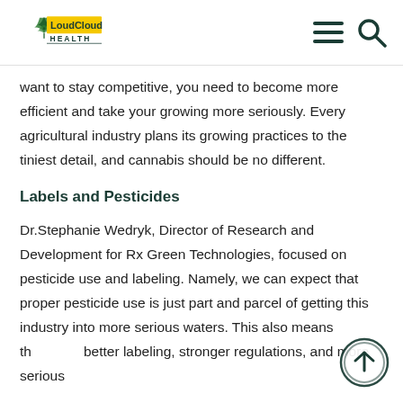LoudCloud HEALTH
want to stay competitive, you need to become more efficient and take your growing more seriously. Every agricultural industry plans its growing practices to the tiniest detail, and cannabis should be no different.
Labels and Pesticides
Dr.Stephanie Wedryk, Director of Research and Development for Rx Green Technologies, focused on pesticide use and labeling. Namely, we can expect that proper pesticide use is just part and parcel of getting this industry into more serious waters. This also means that better labeling, stronger regulations, and more serious